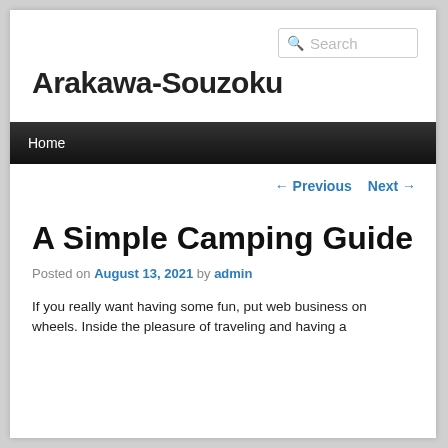Search
Arakawa-Souzoku
Home
← Previous   Next →
A Simple Camping Guide
Posted on August 13, 2021 by admin
If you really want having some fun, put web business on wheels. Inside the pleasure of traveling and having a